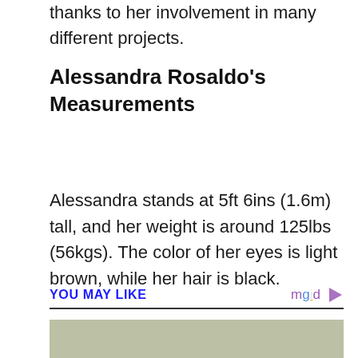thanks to her involvement in many different projects.
Alessandra Rosaldo's Measurements
Alessandra stands at 5ft 6ins (1.6m) tall, and her weight is around 125lbs (56kgs). The color of her eyes is light brown, while her hair is black.
YOU MAY LIKE
[Figure (photo): Partial photo visible at bottom of page]